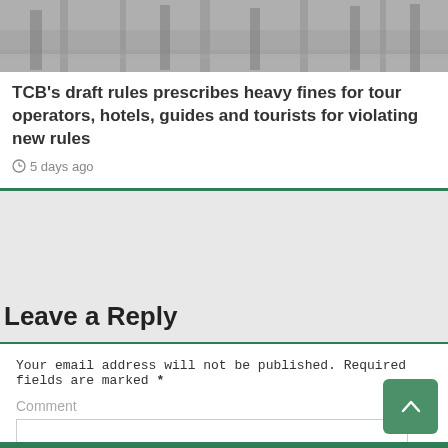[Figure (photo): Grayscale photograph showing what appears to be a waterway or harbor with structures visible]
TCB's draft rules prescribes heavy fines for tour operators, hotels, guides and tourists for violating new rules
5 days ago
Leave a Reply
Your email address will not be published. Required fields are marked *
Comment